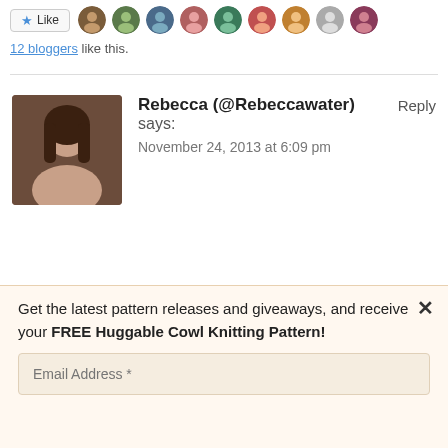[Figure (other): Like button with star icon followed by a strip of blogger avatar profile photos]
12 bloggers like this.
Rebecca (@Rebeccawater) says: November 24, 2013 at 6:09 pm  Reply
Get the latest pattern releases and giveaways, and receive your FREE Huggable Cowl Knitting Pattern!
Email Address *